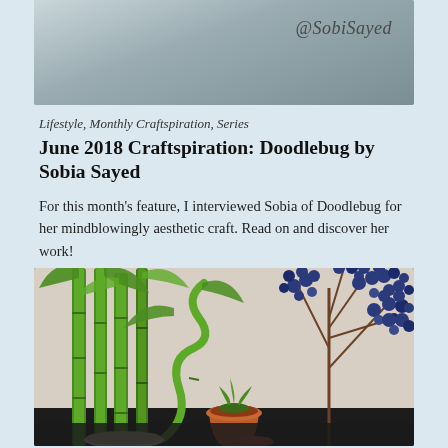[Figure (photo): Top cropped photo showing @SobiSayed watermark text on a light background]
Lifestyle, Monthly Craftspiration, Series
June 2018 Craftspiration: Doodlebug by Sobia Sayed
For this month's feature, I interviewed Sobia of Doodlebug for her mindblowingly aesthetic craft. Read on and discover her work!
June 20, 2018 — Comments 0
[Figure (photo): Photo of lucky bamboo stalks, blue berry branches, a terracotta pot with a small succulent, and decorative items on a dark surface]